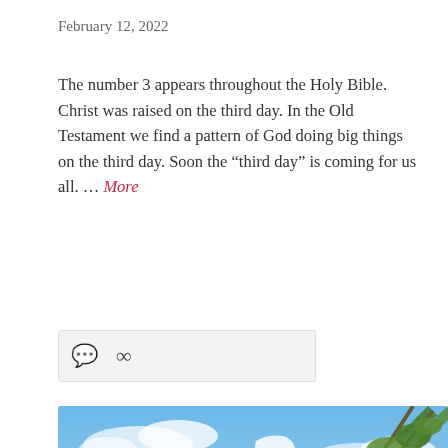February 12, 2022
The number 3 appears throughout the Holy Bible. Christ was raised on the third day. In the Old Testament we find a pattern of God doing big things on the third day. Soon the “third day” is coming for us all. … More
[Figure (other): Icon bar with comment bubble and link icons on a light gray background]
[Figure (illustration): Illustration of an elderly bearded man in blue robes holding a wooden staff, standing against a blue sky with green tree branches visible in the upper right corner]